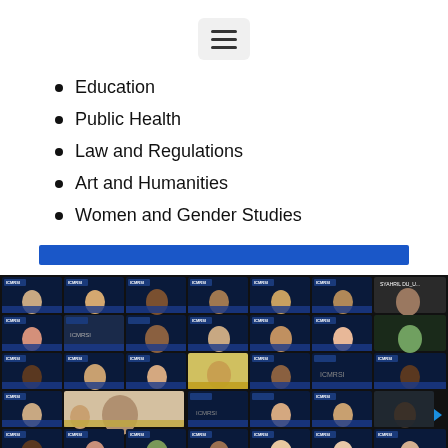[Figure (other): Hamburger/menu icon button with three horizontal lines on a light gray rounded rectangle background]
Education
Public Health
Law and Regulations
Art and Humanities
Women and Gender Studies
[Figure (other): Blue horizontal bar/banner element]
[Figure (photo): Screenshot of a Zoom video conference showing a grid of approximately 35 participants, all with ICMRSI virtual backgrounds. One participant labeled SYAHRIL DU_U... is visible in the top right area without a virtual background.]